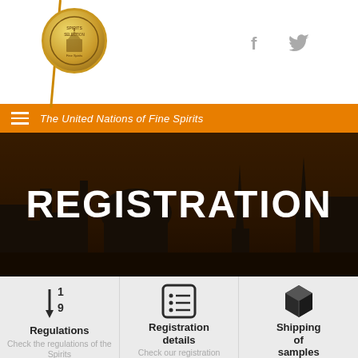[Figure (logo): Circular gold medallion logo with text and building illustration, on white header with diagonal orange line and social media icons (Facebook, Twitter)]
The United Nations of Fine Spirits
REGISTRATION
Regulations
Check the regulations of the Spirits
Registration details
Check our registration
Shipping of samples
See how